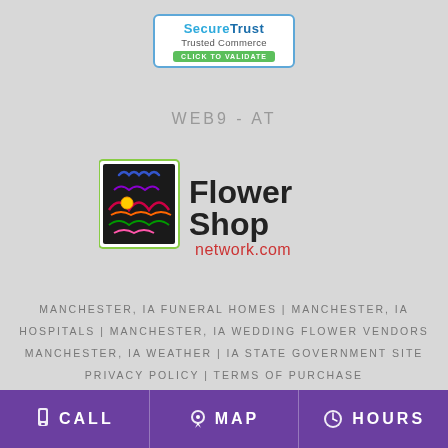[Figure (logo): SecureTrust Trusted Commerce badge with blue border, blue text 'SecureTrust', gray text 'Trusted Commerce', and green button 'CLICK TO VALIDATE']
WEB9 - AT
[Figure (logo): Flower Shop Network logo with colorful doodle-style square graphic and text 'Flower Shop network.com']
MANCHESTER, IA FUNERAL HOMES | MANCHESTER, IA HOSPITALS | MANCHESTER, IA WEDDING FLOWER VENDORS MANCHESTER, IA WEATHER | IA STATE GOVERNMENT SITE PRIVACY POLICY | TERMS OF PURCHASE
CALL  MAP  HOURS